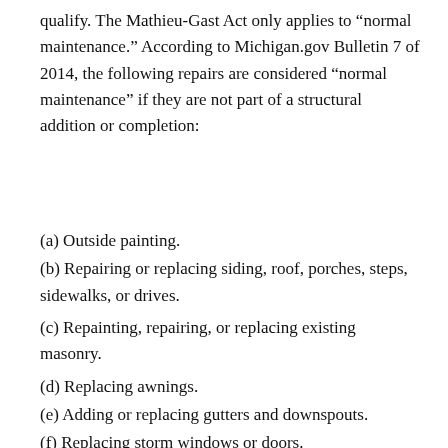qualify. The Mathieu-Gast Act only applies to "normal maintenance." According to Michigan.gov Bulletin 7 of 2014, the following repairs are considered "normal maintenance" if they are not part of a structural addition or completion:
(a) Outside painting.
(b) Repairing or replacing siding, roof, porches, steps, sidewalks, or drives.
(c) Repainting, repairing, or replacing existing masonry.
(d) Replacing awnings.
(e) Adding or replacing gutters and downspouts.
(f) Replacing storm windows or doors.
(g) Insulating or weather stripping.